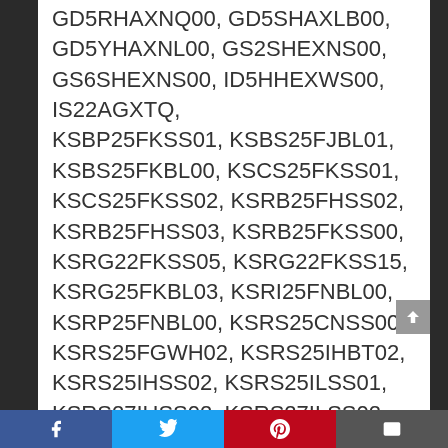GD5RHAXNQ00, GD5SHAXLB00, GD5YHAXNL00, GS2SHEXNS00, GS6SHEXNS00, ID5HHEXWS00, IS22AGXTQ, KSBP25FKSS01, KSBS25FJBL01, KSBS25FKBL00, KSCS25FKSS01, KSCS25FKSS02, KSRB25FHSS02, KSRB25FHSS03, KSRB25FKSS00, KSRG22FKSS05, KSRG22FKSS15, KSRG25FKBL03, KSRI25FNBL00, KSRP25FNBL00, KSRS25CNSS00, KSRS25FGWH02, KSRS25IHBT02, KSRS25IHSS02, KSRS25ILSS01, KSRS27IHSS02, KSRS27ILSS02, KSRX25FNST03, KSSO42QMB, KSSS48QJX00, RS25ACYNQ00, RS25ACYNQ02
Social share bar: Facebook, Twitter, Pinterest, Email